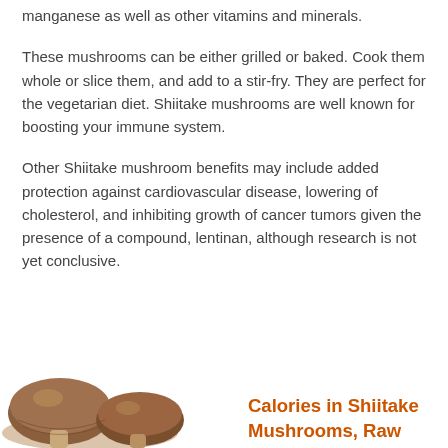manganese as well as other vitamins and minerals.
These mushrooms can be either grilled or baked. Cook them whole or slice them, and add to a stir-fry. They are perfect for the vegetarian diet. Shiitake mushrooms are well known for boosting your immune system.
Other Shiitake mushroom benefits may include added protection against cardiovascular disease, lowering of cholesterol, and inhibiting growth of cancer tumors given the presence of a compound, lentinan, although research is not yet conclusive.
[Figure (photo): Photograph of shiitake mushrooms, brown and clustered, positioned at the bottom left of the page.]
Calories in Shiitake Mushrooms, Raw